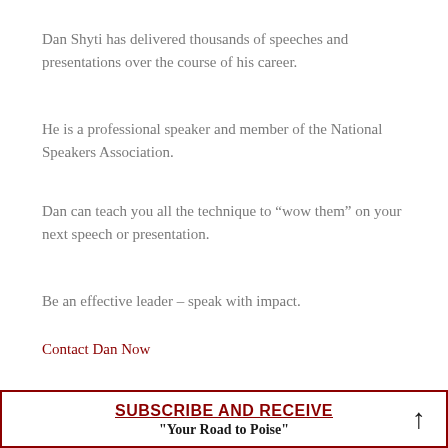Dan Shyti has delivered thousands of speeches and presentations over the course of his career.
He is a professional speaker and member of the National Speakers Association.
Dan can teach you all the technique to “wow them” on your next speech or presentation.
Be an effective leader – speak with impact.
Contact Dan Now
SUBSCRIBE AND RECEIVE
"Your Road to Poise"